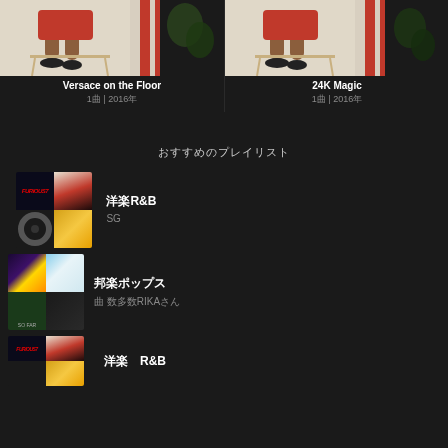[Figure (photo): Album cover for Versace on the Floor — person in red outfit on chair, dark background with red stripe]
Versace on the Floor
1曲 | 2016年
[Figure (photo): Album cover for 24K Magic — person in red outfit on chair, dark background with red stripe]
24K Magic
1曲 | 2016年
おすすめのプレイリスト
[Figure (photo): Playlist thumbnail grid: Furious 7 movie poster, red album art, tire/wheel, yellow road]
洋楽R&B
SG
[Figure (photo): Playlist thumbnail grid: concert crowd with lights, couple outdoors, So Far album, dark cover]
邦楽ポップス
曲 数多数RIKAさん
[Figure (photo): Partial playlist thumbnail — bottom of page cut off]